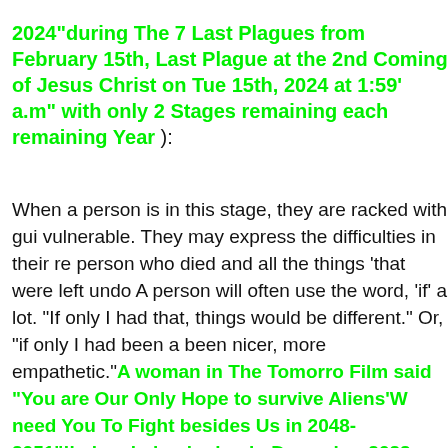2024"during The 7 Last Plagues from February 15th, Last Plague at the 2nd Coming of Jesus Christ on Tuesday 15th, 2024 at 1:59' a.m" with only 2 Stages remaining each remaining Year ):
When a person is in this stage, they are racked with guilt and vulnerable. They may express the difficulties in their relationship with the person who died and all the things 'that were left undone'. A person will often use the word, 'if' a lot. "If only I had done this or that, things would be different." Or, "if only I had been a bit kinder, or been nicer, more empathetic."A woman in The Tomorrow War Film said "You are Our Only Hope to survive Aliens'We need You To Fight besides Us in 2048-2051"!being in beginning in December 2022 World Cup in Qatar!!" The stage for a person because despite where they are in this process, they have no control over this situation. The person is cannot rewrite their narrative or have the opportunity to